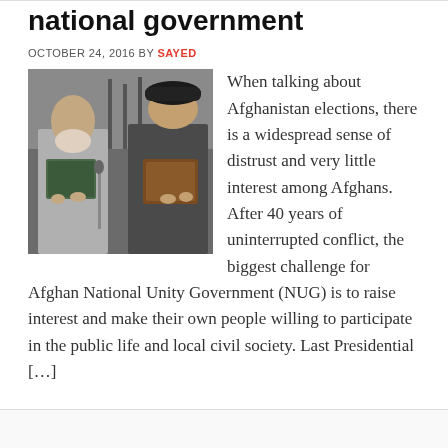national government
OCTOBER 24, 2016 BY SAYED
[Figure (photo): Two men in formal attire holding documents or plaques, standing in front of flags — likely Afghan political leaders at an official ceremony.]
When talking about Afghanistan elections, there is a widespread sense of distrust and very little interest among Afghans. After 40 years of uninterrupted conflict, the biggest challenge for Afghan National Unity Government (NUG) is to raise interest and make their own people willing to participate in the public life and local civil society. Last Presidential […]